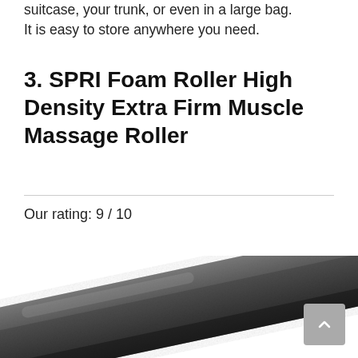suitcase, your trunk, or even in a large bag. It is easy to store anywhere you need.
3. SPRI Foam Roller High Density Extra Firm Muscle Massage Roller
Our rating: 9 / 10
[Figure (photo): A dark gray/charcoal cylindrical foam roller shown diagonally, filling the lower portion of the page. The roller has a textured surface and is photographed on a white background.]